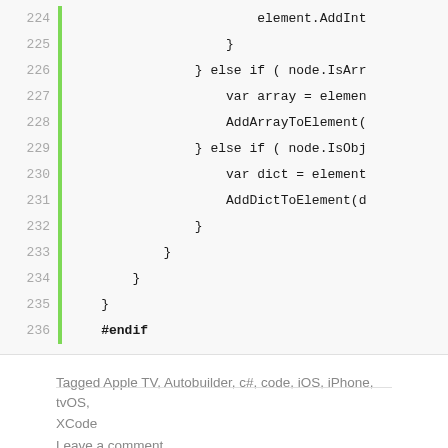[Figure (screenshot): Code editor screenshot showing lines 224-236 of C# code with line numbers, green vertical bar, and monospace code text. Lines include element.AddInt, closing braces, else if node.IsArr, var array = elemen, AddArrayToElement, else if node.IsObj, var dict = element, AddDictToElement, closing braces, and #endif.]
Tagged Apple TV, Autobuilder, c#, code, iOS, iPhone, tvOS, XCode
Leave a comment